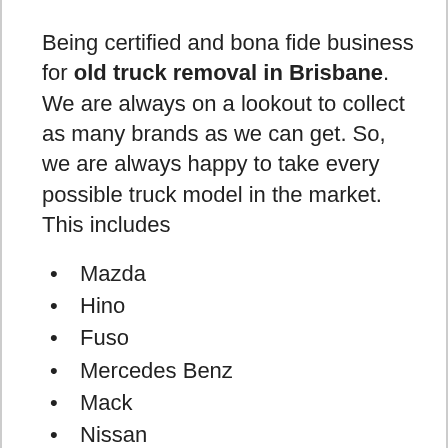Being certified and bona fide business for old truck removal in Brisbane. We are always on a lookout to collect as many brands as we can get. So, we are always happy to take every possible truck model in the market. This includes
Mazda
Hino
Fuso
Mercedes Benz
Mack
Nissan
Navara
Isuzu
Holden Colorado
Toyota Hilux
Volvo
Mitsubishi Triton